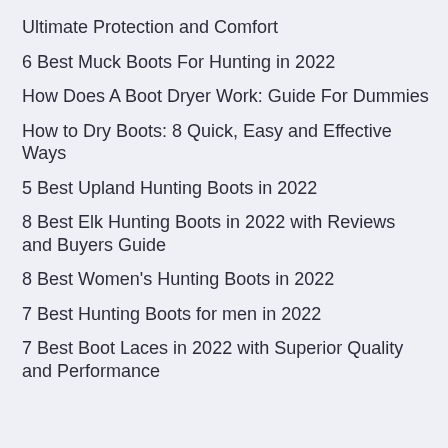Ultimate Protection and Comfort
6 Best Muck Boots For Hunting in 2022
How Does A Boot Dryer Work: Guide For Dummies
How to Dry Boots: 8 Quick, Easy and Effective Ways
5 Best Upland Hunting Boots in 2022
8 Best Elk Hunting Boots in 2022 with Reviews and Buyers Guide
8 Best Women's Hunting Boots in 2022
7 Best Hunting Boots for men in 2022
7 Best Boot Laces in 2022 with Superior Quality and Performance